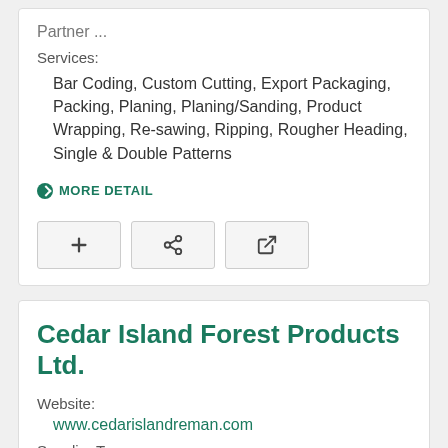Partner ...
Services:
Bar Coding, Custom Cutting, Export Packaging, Packing, Planing, Planing/Sanding, Product Wrapping, Re-sawing, Ripping, Rougher Heading, Single & Double Patterns
MORE DETAIL
Cedar Island Forest Products Ltd.
Website:
www.cedarislandreman.com
Supplier Type: